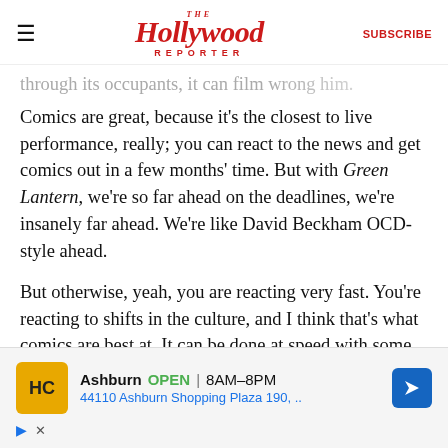The Hollywood Reporter | SUBSCRIBE
through its occupants, it can film wrong him. Comics are great, because it's the closest to live performance, really; you can react to the news and get comics out in a few months' time. But with Green Lantern, we're so far ahead on the deadlines, we're insanely far ahead. We're like David Beckham OCD-style ahead.
But otherwise, yeah, you are reacting very fast. You're reacting to shifts in the culture, and I think that's what comics are best at. It can be done at speed with some wit and style. For me, I think it's
[Figure (other): Advertisement overlay: HC logo (gold background), Ashburn OPEN 8AM-8PM, 44110 Ashburn Shopping Plaza 190, with navigation icon]